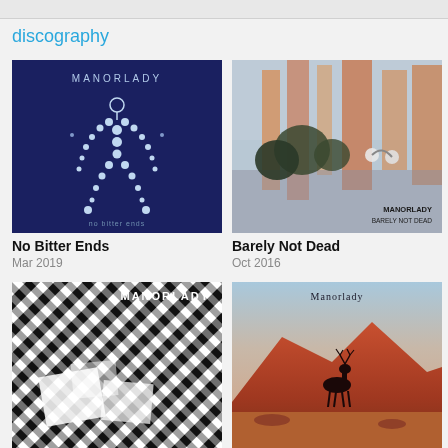discography
[Figure (photo): Album cover for 'No Bitter Ends' by Manorlady — dark navy blue background with white dots forming a human figure, text 'MANORLADY' at top, 'no bitter ends' at bottom]
[Figure (photo): Album cover for 'Barely Not Dead' by Manorlady — impressionistic painting of trees and landscape in blues, peaches, oranges with 'MANORLADY BARELY NOT DEAD' text bottom right]
No Bitter Ends
Mar 2019
Barely Not Dead
Oct 2016
[Figure (photo): Album cover with black and white geometric diagonal pattern with 'MANORLADY' text at top]
[Figure (photo): Album cover with desert mountain landscape in reds and oranges, 'Manorlady' text at top, deer silhouette on mountain]